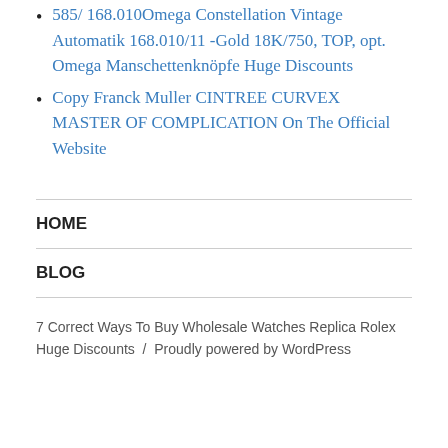585/ 168.010Omega Constellation Vintage Automatik 168.010/11 -Gold 18K/750, TOP, opt. Omega Manschettenknöpfe Huge Discounts
Copy Franck Muller CINTREE CURVEX MASTER OF COMPLICATION On The Official Website
HOME
BLOG
7 Correct Ways To Buy Wholesale Watches Replica Rolex Huge Discounts  /  Proudly powered by WordPress